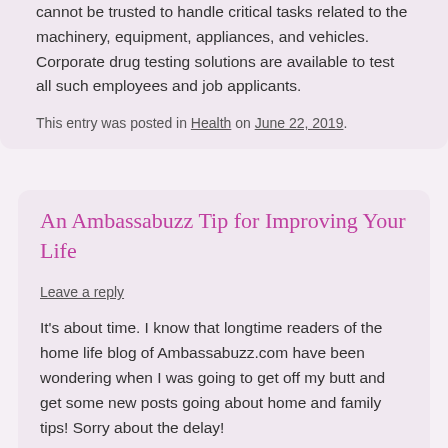cannot be trusted to handle critical tasks related to the machinery, equipment, appliances, and vehicles. Corporate drug testing solutions are available to test all such employees and job applicants.
This entry was posted in Health on June 22, 2019.
An Ambassabuzz Tip for Improving Your Life
Leave a reply
It's about time. I know that longtime readers of the home life blog of Ambassabuzz.com have been wondering when I was going to get off my butt and get some new posts going about home and family tips! Sorry about the delay!